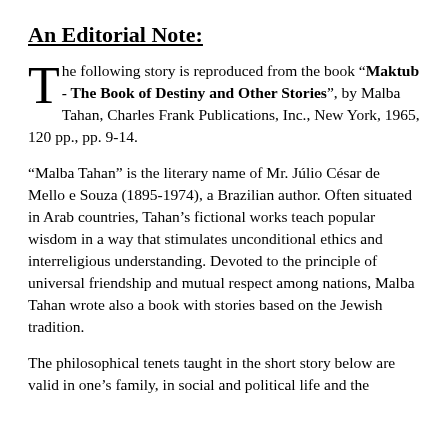An Editorial Note:
The following story is reproduced from the book “Maktub - The Book of Destiny and Other Stories”, by Malba Tahan, Charles Frank Publications, Inc., New York, 1965, 120 pp., pp. 9-14.
“Malba Tahan” is the literary name of Mr. Júlio César de Mello e Souza (1895-1974), a Brazilian author. Often situated in Arab countries, Tahan’s fictional works teach popular wisdom in a way that stimulates unconditional ethics and interreligious understanding. Devoted to the principle of universal friendship and mutual respect among nations, Malba Tahan wrote also a book with stories based on the Jewish tradition.
The philosophical tenets taught in the short story below are valid in one’s family, in social and political life and the